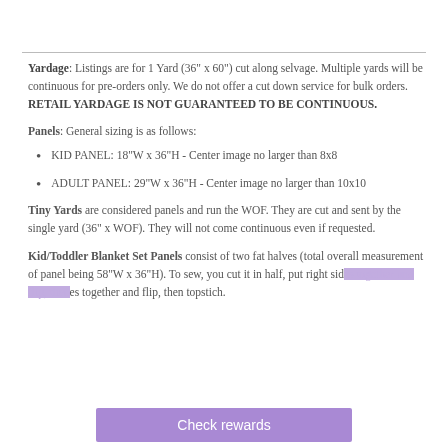Yardage: Listings are for 1 Yard (36" x 60") cut along selvage. Multiple yards will be continuous for pre-orders only. We do not offer a cut down service for bulk orders.   RETAIL YARDAGE IS NOT GUARANTEED TO BE CONTINUOUS.
Panels: General sizing is as follows:
KID PANEL: 18"W x 36"H - Center image no larger than 8x8
ADULT PANEL: 29"W x 36"H - Center image no larger than 10x10
Tiny Yards are considered panels and run the WOF. They are cut and sent by the single yard (36" x WOF). They will not come continuous even if requested.
Kid/Toddler Blanket Set Panels consist of two fat halves (total overall measurement of panel being 58"W x 36"H). To sew, you cut it in half, put right sides together and flip, then topstich.